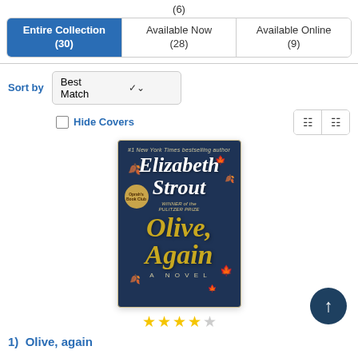(6)
| Entire Collection (30) | Available Now (28) | Available Online (9) |
| --- | --- | --- |
Sort by  Best Match
Hide Covers
[Figure (screenshot): Book cover for 'Olive, Again' by Elizabeth Strout, showing dark blue background with autumn leaves and title in gold italic script.]
★★★★☆
1)  Olive, again